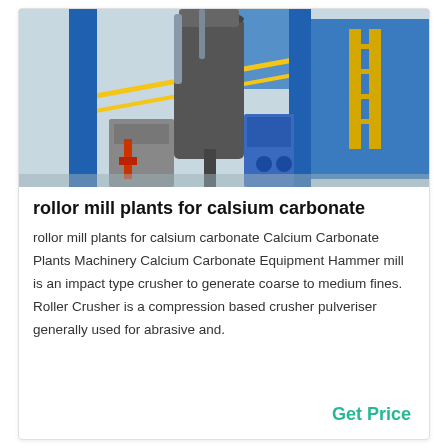[Figure (photo): Industrial roller mill plant machinery with large cylindrical tower, blue structural columns, yellow safety railings, and associated equipment at an industrial facility.]
rollor mill plants for calsium carbonate
rollor mill plants for calsium carbonate Calcium Carbonate Plants Machinery Calcium Carbonate Equipment Hammer mill is an impact type crusher to generate coarse to medium fines. Roller Crusher is a compression based crusher pulveriser generally used for abrasive and.
Get Price